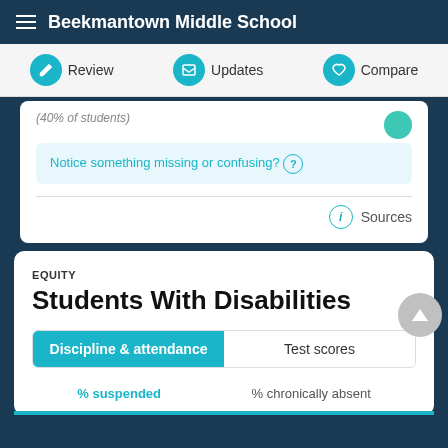Beekmantown Middle School
Review | Updates | Compare
(40% of students)
Notice something missing or confusing? ?
Sources
EQUITY
Students With Disabilities
Discipline & attendance | Test scores
% suspended | % chronically absent